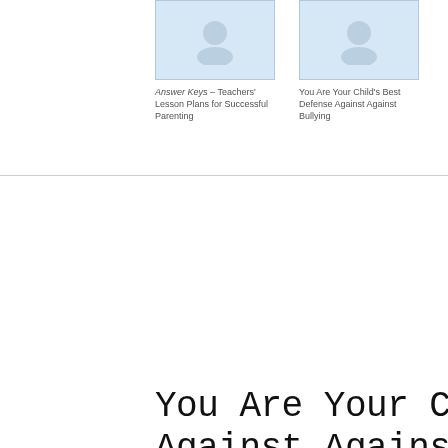[Figure (illustration): Thumbnail book cover image for Answer Keys – Teachers' Lesson Plans for Successful Parenting]
Answer Keys – Teachers' Lesson Plans for Successful Parenting
[Figure (illustration): Thumbnail book cover image for You Are Your Child's Best Defense Against Against Bullying]
You Are Your Child's Best Defense Against Against Bullying
You Are Your Child's Against Against Bully
School safety on today's campus means more than need to be equipped with proactive tactics to comb cyberspace.
School violence is at the forefront of parents' minds and in the ne students are either bullies or victims, making bullying the most c
What's a school to do?
It is common to see schools creating bullying policies and adopti